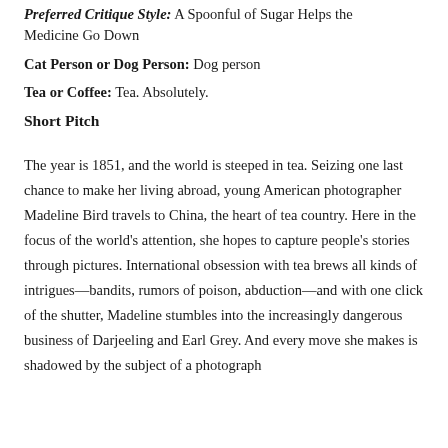Preferred Critique Style: A Spoonful of Sugar Helps the Medicine Go Down
Cat Person or Dog Person: Dog person
Tea or Coffee: Tea. Absolutely.
Short Pitch
The year is 1851, and the world is steeped in tea. Seizing one last chance to make her living abroad, young American photographer Madeline Bird travels to China, the heart of tea country. Here in the focus of the world’s attention, she hopes to capture people’s stories through pictures. International obsession with tea brews all kinds of intrigues—bandits, rumors of poison, abduction—and with one click of the shutter, Madeline stumbles into the increasingly dangerous business of Darjeeling and Earl Grey. And every move she makes is shadowed by the subject of a photograph